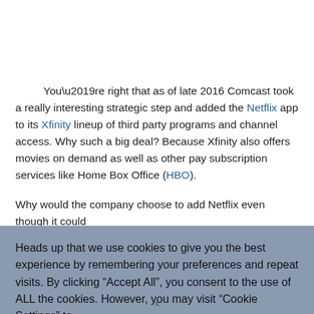You’re right that as of late 2016 Comcast took a really interesting strategic step and added the Netflix app to its Xfinity lineup of third party programs and channel access. Why such a big deal? Because Xfinity also offers movies on demand as well as other pay subscription services like Home Box Office (HBO).
Why would the company choose to add Netflix even though it could
Heads up that we use cookies to give you the best experience by remembering your preferences and repeat visits. By clicking “Accept All”, you consent to the use of ALL the cookies. However, you may visit “Cookie Settings” to